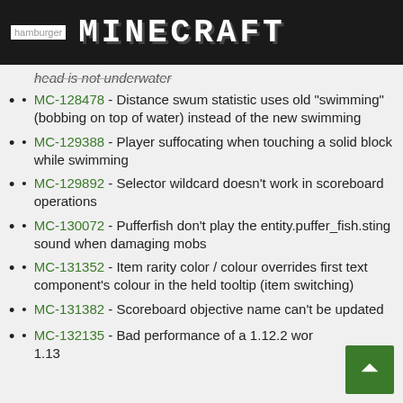MINECRAFT
head is not underwater
MC-128478 - Distance swum statistic uses old "swimming" (bobbing on top of water) instead of the new swimming
MC-129388 - Player suffocating when touching a solid block while swimming
MC-129892 - Selector wildcard doesn't work in scoreboard operations
MC-130072 - Pufferfish don't play the entity.puffer_fish.sting sound when damaging mobs
MC-131352 - Item rarity color / colour overrides first text component's colour in the held tooltip (item switching)
MC-131382 - Scoreboard objective name can't be updated
MC-132135 - Bad performance of a 1.12.2 world in 1.13